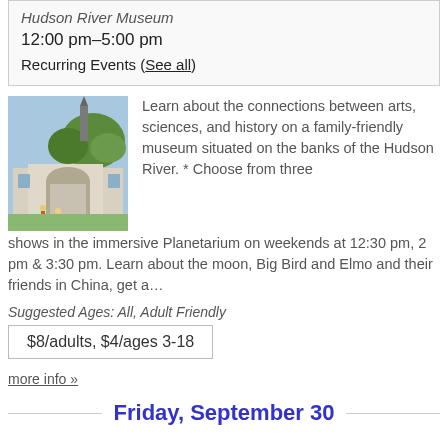Hudson River Museum
12:00 pm–5:00 pm
Recurring Events (See all)
[Figure (photo): Exterior photo of the Hudson River Museum building with a church steeple visible in the background, green trees, and people in front.]
Learn about the connections between arts, sciences, and history on a family-friendly museum situated on the banks of the Hudson River. * Choose from three shows in the immersive Planetarium on weekends at 12:30 pm, 2 pm & 3:30 pm. Learn about the moon, Big Bird and Elmo and their friends in China, get a…
Suggested Ages: All, Adult Friendly
$8/adults, $4/ages 3-18
more info »
Friday, September 30